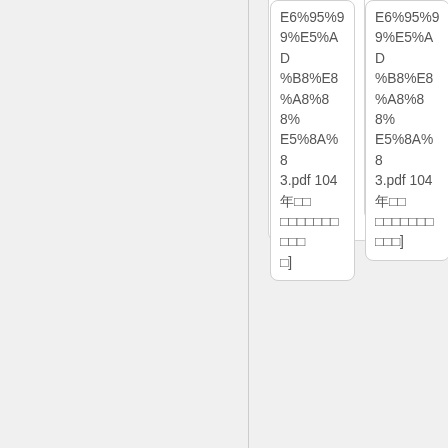E6%95%99%E5%AD%B8%E8%A8%88%E5%8A%833.pdf 104年□□□□□□□□□□□□□]
E6%95%99%E5%AD%B8%E8%A8%88%E5%8A%833.pdf 104年□□□□□□□□□□□□□]
..
[http://wiki.shjhs.tn.edu.tw/images/2/2b/%E6%95%99%E8%82%B2%E9%83%A8%E8%A3%9C%E5%8A
..
[http://wiki.shjhs.tn.edu.tw/images/2/2b/%E6%95%99%E8%82%B2%E9%83%A8%E8%A3%9C%E5%8A